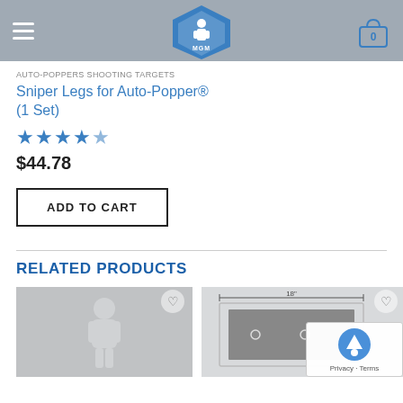[Figure (logo): MGM Targets logo — blue pentagon/shield shape with white figure silhouette and 'MGM TARGETS' text, on gray header bar with hamburger menu on left and cart icon (showing 0) on right]
AUTO-POPPERS SHOOTING TARGETS
Sniper Legs for Auto-Popper® (1 Set)
[Figure (other): Five blue star rating icons]
$44.78
ADD TO CART
RELATED PRODUCTS
[Figure (photo): Gray product image showing a human silhouette target figure]
[Figure (photo): Product image showing a metal shooting target plate with '18"' dimension label; reCAPTCHA overlay in bottom right corner with Privacy - Terms text]